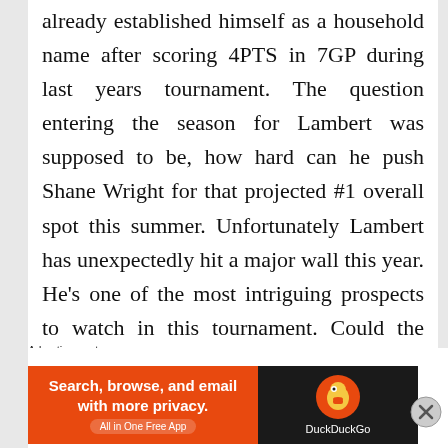already established himself as a household name after scoring 4PTS in 7GP during last years tournament. The question entering the season for Lambert was supposed to be, how hard can he push Shane Wright for that projected #1 overall spot this summer. Unfortunately Lambert has unexpectedly hit a major wall this year. He's one of the most intriguing prospects to watch in this tournament. Could the WJC spark a mid-season turnaround for the highly
Advertisements
[Figure (other): DuckDuckGo advertisement banner: orange section with text 'Search, browse, and email with more privacy. All in One Free App' and dark section with DuckDuckGo duck logo and brand name.]